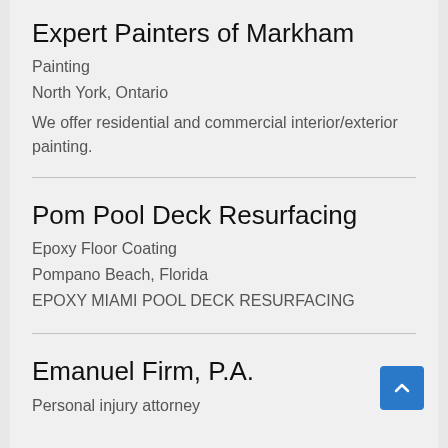Expert Painters of Markham
Painting
North York, Ontario
We offer residential and commercial interior/exterior painting.
Pom Pool Deck Resurfacing
Epoxy Floor Coating
Pompano Beach, Florida
EPOXY MIAMI POOL DECK RESURFACING
Emanuel Firm, P.A.
Personal injury attorney